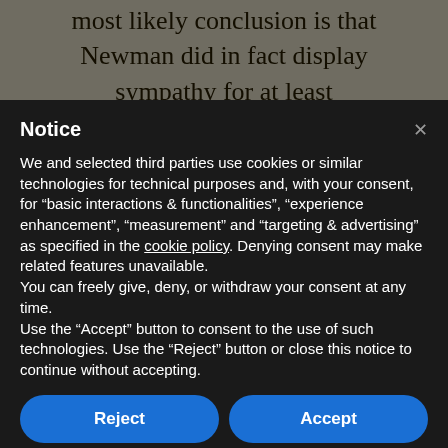most likely conclusion is that Newman did in fact display sympathy for at least
Notice
We and selected third parties use cookies or similar technologies for technical purposes and, with your consent, for “basic interactions & functionalities”, “experience enhancement”, “measurement” and “targeting & advertising” as specified in the cookie policy. Denying consent may make related features unavailable.
You can freely give, deny, or withdraw your consent at any time.
Use the “Accept” button to consent to the use of such technologies. Use the “Reject” button or close this notice to continue without accepting.
Reject
Accept
Learn more and customize